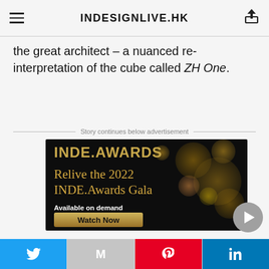INDESIGNLIVE.HK
the great architect – a nuanced re-interpretation of the cube called ZH One.
Story continues below advertisement
[Figure (photo): INDE.AWARDS advertisement banner on dark background with gold bokeh lights. Text reads: INDE.AWARDS — Relive the 2022 INDE.Awards Gala — Available on demand — Watch Now button]
Social sharing bar with Twitter, Gmail, Pinterest, and LinkedIn buttons